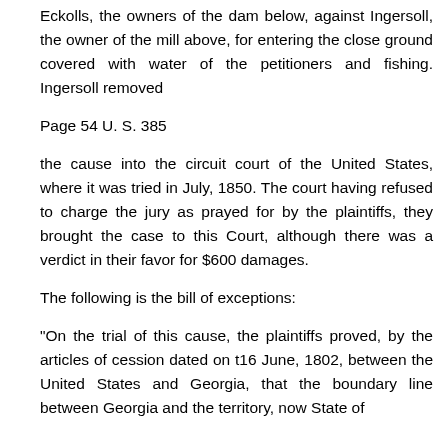Eckolls, the owners of the dam below, against Ingersoll, the owner of the mill above, for entering the close ground covered with water of the petitioners and fishing. Ingersoll removed
Page 54 U. S. 385
the cause into the circuit court of the United States, where it was tried in July, 1850. The court having refused to charge the jury as prayed for by the plaintiffs, they brought the case to this Court, although there was a verdict in their favor for $600 damages.
The following is the bill of exceptions:
"On the trial of this cause, the plaintiffs proved, by the articles of cession dated on t16 June, 1802, between the United States and Georgia, that the boundary line between Georgia and the territory, now State of